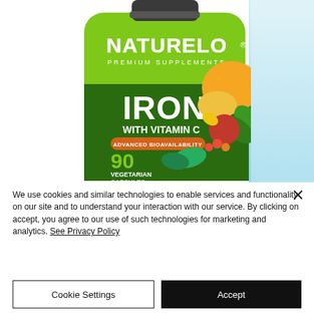[Figure (photo): NATURELO Premium Supplements Iron with Vitamin C supplement bottle (green, 90 vegetarian capsules), surrounded by fruits and vegetables, with a capsule and leaves on the right side. Blue gradient background on right.]
We use cookies and similar technologies to enable services and functionality on our site and to understand your interaction with our service. By clicking on accept, you agree to our use of such technologies for marketing and analytics. See Privacy Policy
Cookie Settings
Accept